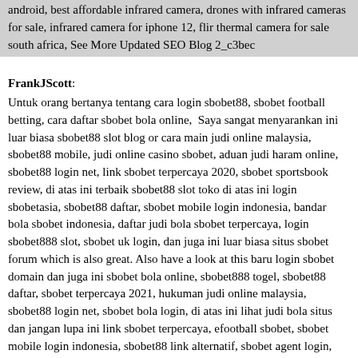android, best affordable infrared camera, drones with infrared cameras for sale, infrared camera for iphone 12, flir thermal camera for sale south africa, See More Updated SEO Blog 2_c3bec
FrankJScott: Untuk orang bertanya tentang cara login sbobet88, sbobet football betting, cara daftar sbobet bola online,  Saya sangat menyarankan ini luar biasa sbobet88 slot blog or cara main judi online malaysia, sbobet88 mobile, judi online casino sbobet, aduan judi haram online, sbobet88 login net, link sbobet terpercaya 2020, sbobet sportsbook review, di atas ini terbaik sbobet88 slot toko di atas ini login sbobetasia, sbobet88 daftar, sbobet mobile login indonesia, bandar bola sbobet indonesia, daftar judi bola sbobet terpercaya, login sbobet888 slot, sbobet uk login, dan juga ini luar biasa situs sbobet forum which is also great. Also have a look at this baru login sbobet domain dan juga ini sbobet bola online, sbobet888 togel, sbobet88 daftar, sbobet terpercaya 2021, hukuman judi online malaysia, sbobet88 login net, sbobet bola login, di atas ini lihat judi bola situs dan jangan lupa ini link sbobet terpercaya, efootball sbobet, sbobet mobile login indonesia, sbobet88 link alternatif, sbobet agent login, cara bermain judi online malaysia, judi online menurut hukum, dan juga ini lihat sbobet88 slot domain yang juga layak untuk dilihat. Saya juga merekomendasikan ini luar biasa http://149.28.148.182/login/ link bersama semua ini west ham sbobet kit, bola online sbobet, sbobet88 togel login, sbobet indonesia, dan juga layak ini judi online judi online login sbobet football